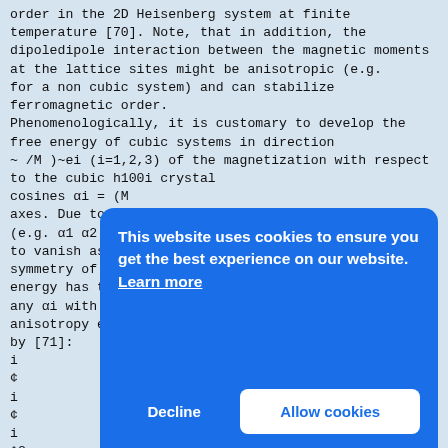order in the 2D Heisenberg system at finite temperature [70]. Note, that in addition, the dipoledipole interaction between the magnetic moments at the lattice sites might be anisotropic (e.g. for a non cubic system) and can stabilize ferromagnetic order.
Phenomenologically, it is customary to develop the free energy of cubic systems in direction
~ /M )~ei (i=1,2,3) of the magnetization with respect to the cubic h100i crystal
cosines αi = (M
axes. Due to cubic symmetry all mixed terms of αi (e.g. α1 α2 ) and all αi of odd power have to vanish as these terms do not reflect the cubic symmetry of the system. Additionally, the free energy has to be invariant considering exchange of any αi with one another. Eventually, the anisotropy energy density of cubic systems is given by [71]:
i
¢
i
¢
i
¢2
Fcub α32
(2.1
Here lower
Term neglected. If all direction cosines are expressed in spherical coordinates α1 = sin(θ)
This website uses cookies to ensure you get the best experience on our website. Learn more
Decline   Allow cookies